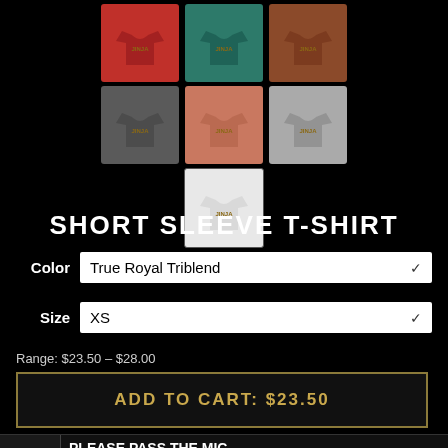[Figure (photo): Grid of 7 t-shirt color variants: row 1 has red, teal, rust/brown; row 2 has charcoal gray, salmon/pink, light gray; row 3 has white/light t-shirt centered]
SHORT SLEEVE T-SHIRT
Color  True Royal Triblend
Size  XS
Range: $23.50 – $28.00
ADD TO CART: $23.50
PLEASE PASS THE MIC  ...features a vintage, fitted look. And extreme durability makes this t-shirt